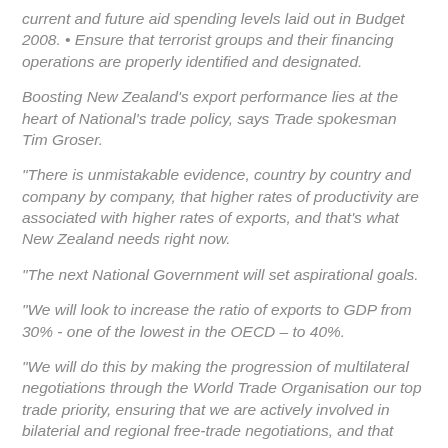current and future aid spending levels laid out in Budget 2008. • Ensure that terrorist groups and their financing operations are properly identified and designated.
Boosting New Zealand's export performance lies at the heart of National's trade policy, says Trade spokesman Tim Groser.
"There is unmistakable evidence, country by country and company by company, that higher rates of productivity are associated with higher rates of exports, and that's what New Zealand needs right now.
"The next National Government will set aspirational goals.
"We will look to increase the ratio of exports to GDP from 30% - one of the lowest in the OECD – to 40%.
"We will do this by making the progression of multilateral negotiations through the World Trade Organisation our top trade priority, ensuring that we are actively involved in bilaterial and regional free-trade negotiations, and that